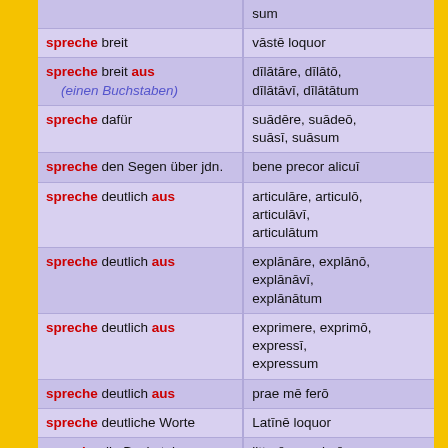|  | sum |
| spreche breit | vāstē loquor |
| spreche breit aus (einen Buchstaben) | dīlātāre, dīlātō, dīlātāvī, dīlātātum |
| spreche dafür | suādēre, suādeō, suāsī, suāsum |
| spreche den Segen über jdn. | bene precor alicuī |
| spreche deutlich aus | articulāre, articulō, articulāvī, articulātum |
| spreche deutlich aus | explānāre, explānō, explānāvī, explānātum |
| spreche deutlich aus | exprimere, exprimō, expressī, expressum |
| spreche deutlich aus | prae mē ferō |
| spreche deutliche Worte | Latīnē loquor |
| spreche die Buchstaben deutlich aus | litterās exprimō |